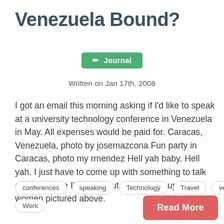Venezuela Bound?
Journal
Written on Jan 17th, 2008
I got an email this morning asking if I'd like to speak at a university technology conference in Venezuela in May. All expenses would be paid for. Caracas, Venezuela, photo by josemazcona Fun party in Caracas, photo my rmendez Hell yah baby. Hell yah. I just have to come up with something to talk about. Maybe I'll talk about the cute group of women pictured above.
conferences
speaking
Technology
Travel
venezuela
Work
Read More